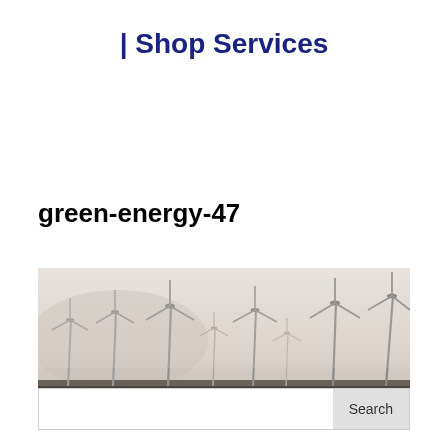| Shop Services
green-energy-47
[Figure (photo): A row of wind turbines in a misty, hazy landscape. Multiple large wind turbines are visible in the foreground and background against a pale grey-white foggy sky, with dark ground at the bottom.]
Search